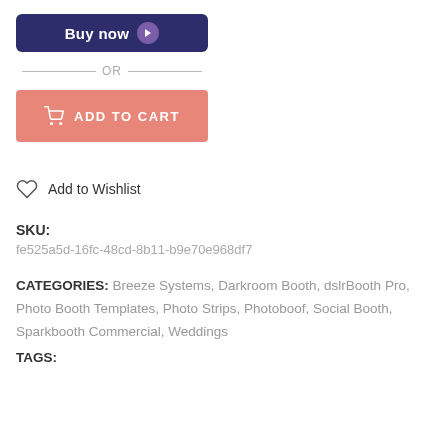[Figure (other): Dark navy blue 'Buy now' button with right-pointing arrow in purple circle]
— OR —
[Figure (other): Salmon/pink 'ADD TO CART' button with shopping cart icon]
Add to Wishlist
SKU:
fe525a5d-16fc-48cd-8b11-b9e70e968df7
CATEGORIES: Breeze Systems, Darkroom Booth, dslrBooth Pro, Photo Booth Templates, Photo Strips, Photoboof, Social Booth, Sparkbooth Commercial, Weddings
TAGS: